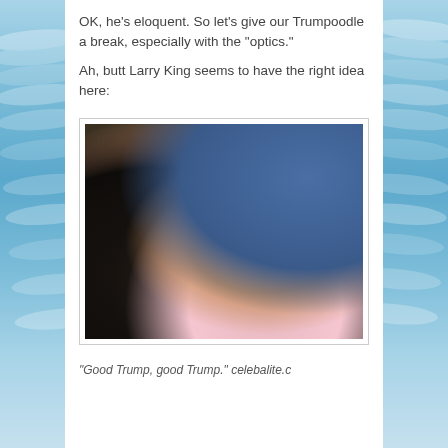OK, he's eloquent. So let's give our Trumpoodle a break, especially with the “optics.”
Ah, butt Larry King seems to have the right idea here:
[Figure (photo): Photo of Larry King reaching toward Donald Trump's hair, with Trump smiling in the foreground wearing a pink tie. Background shows a blue patterned set.]
“Good Trump, good Trump.” celebalite.c